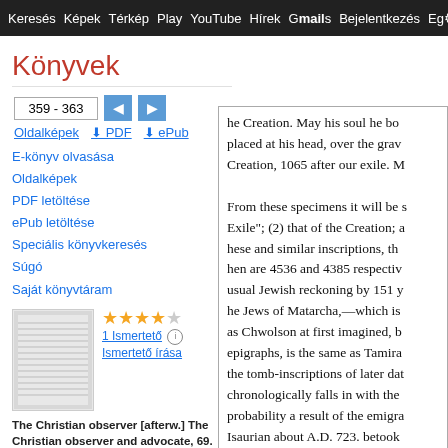Keresés  Képek  Térkép  Play  YouTube  Hírek  Gmails  Bejelentkezés  Egyéb
Könyvek
359 - 363
Oldalképek  PDF  ePub
E-könyv olvasása
Oldalképek
PDF letöltése
ePub letöltése
Speciális könyvkeresés
Súgó
Saját könyvtáram
1 Ismertető   Ismertető írása
The Christian observer [afterw.] The Christian observer and advocate, 69.
he Creation. May his soul he bo placed at his head, over the gra Creation, 1065 after our exile. M

From these specimens it will be s Exile"; (2) that of the Creation; a hese and similar inscriptions, th hen are 4536 and 4385 respectiv usual Jewish reckoning by 151 y he Jews of Matarcha,—which is as Chwolson at first imagined, b epigraphs, is the same as Tamira the tomb-inscriptions of later dat chronologically falls in with the probability a result of the emigra Isaurian about A.D. 723. betook